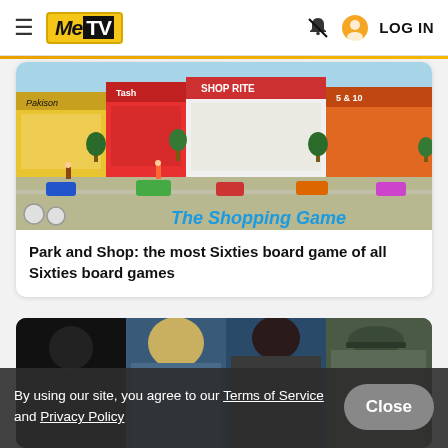MeTV — LOG IN
[Figure (illustration): Illustration of 'The Shopping Game' board game box art showing a 1960s strip mall with colorful storefronts, trees, parking lot, and cars. Text reads 'The Shopping Game' in blue italic. Two seal/badge icons at bottom left.]
Park and Shop: the most Sixties board game of all Sixties board games
[Figure (photo): Photo of people, including a blond person, a woman, and a person wearing a cap/hat, in a dark-toned scene.]
By using our site, you agree to our Terms of Service and Privacy Policy